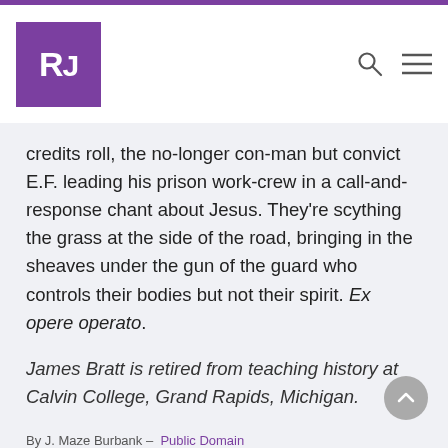RJ
credits roll, the no-longer con-man but convict E.F. leading his prison work-crew in a call-and-response chant about Jesus. They're scything the grass at the side of the road, bringing in the sheaves under the gun of the guard who controls their bodies but not their spirit. Ex opere operato.
James Bratt is retired from teaching history at Calvin College, Grand Rapids, Michigan.
By J. Maze Burbank – Public Domain